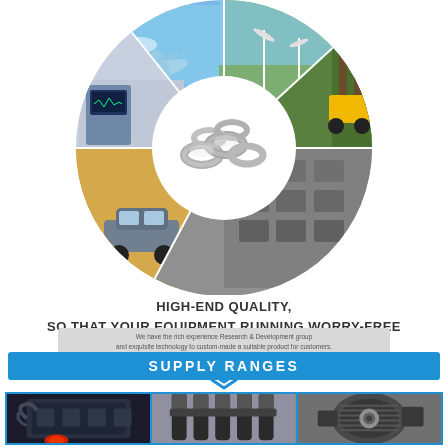[Figure (infographic): Circular collage showing six industry application photos arranged around a central white circle. Sectors include: aviation (airplane), wind energy (wind turbines), forestry machinery (yellow skid steer loader in forest), automotive (SUV in desert), industrial parts/manufacturing, and medical equipment. Center white circle contains silver metal ring/coil inserts product photo.]
HIGH-END QUALITY,
SO THAT YOUR EQUIPMENT RUNNING WORRY-FREE
We have the rich experience Research & Development group and exquisite technology to custom-made a suitable product for customers.
SUPPLY RANGES
[Figure (photo): Three product photos side by side in a blue-bordered row: left shows a car engine assembly, center shows ignition coil spark plug components, right shows an alternator/generator unit.]